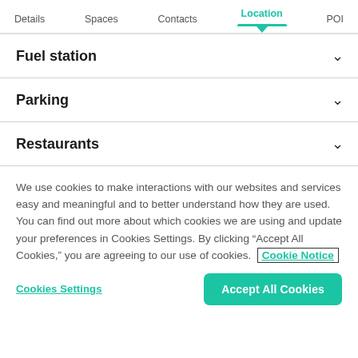Details  Spaces  Contacts  Location  POI
Fuel station
Parking
Restaurants
We use cookies to make interactions with our websites and services easy and meaningful and to better understand how they are used. You can find out more about which cookies we are using and update your preferences in Cookies Settings. By clicking "Accept All Cookies," you are agreeing to our use of cookies.  Cookie Notice
Cookies Settings   Accept All Cookies